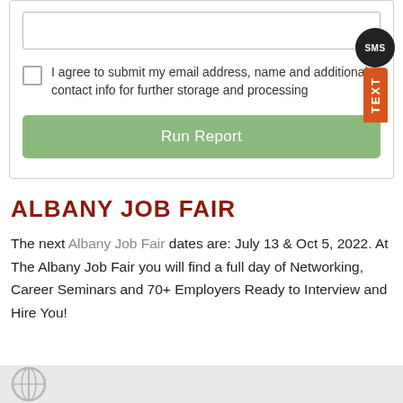I agree to submit my email address, name and additional contact info for further storage and processing
Run Report
ALBANY JOB FAIR
The next Albany Job Fair dates are: July 13 & Oct 5, 2022. At The Albany Job Fair you will find a full day of Networking, Career Seminars and 70+ Employers Ready to Interview and Hire You!